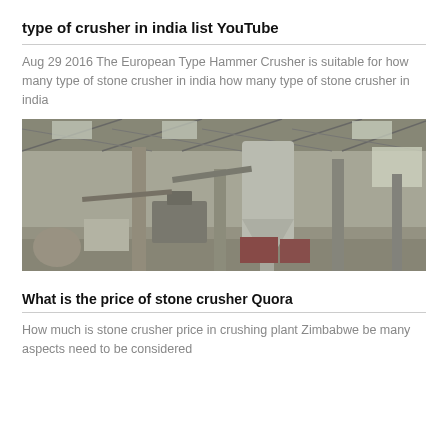type of crusher in india list YouTube
Aug 29 2016 The European Type Hammer Crusher is suitable for how many type of stone crusher in india how many type of stone crusher in india
[Figure (photo): Interior of an industrial stone crushing facility showing large machinery, cyclone separators, conveyor systems, and structural steel roof trusses in a dusty warehouse environment.]
What is the price of stone crusher Quora
How much is stone crusher price in crushing plant Zimbabwe be many aspects need to be considered